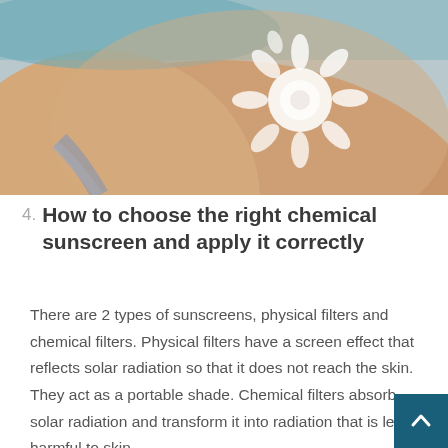[Figure (photo): Person's back with sunscreen lotion applied in a sun shape pattern, showing white cream dots and oval shapes arranged like a sun with rays on skin]
4. How to choose the right chemical sunscreen and apply it correctly
There are 2 types of sunscreens, physical filters and chemical filters. Physical filters have a screen effect that reflects solar radiation so that it does not reach the skin. They act as a portable shade. Chemical filters absorb solar radiation and transform it into radiation that is less harmful to skin…